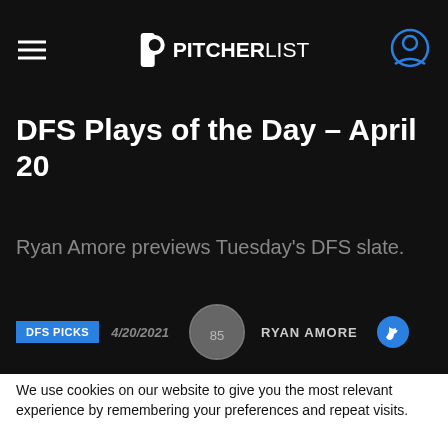PITCHERLIST
DFS Plays of the Day – April 20
Ryan Amore previews Tuesday's DFS slate.
DFS PICKS  4/20/2021  RYAN AMORE
We use cookies on our website to give you the most relevant experience by remembering your preferences and repeat visits.